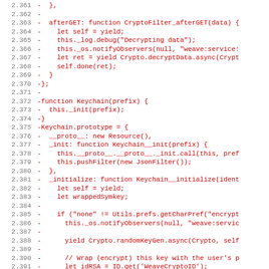[Figure (screenshot): Code diff screenshot showing deleted lines (prefixed with -) in red monospace font, with line numbers from 2.361 to 2.392. The code shows JavaScript functions including CryptoFilter_afterGET, Keychain constructor, and Keychain prototype methods.]